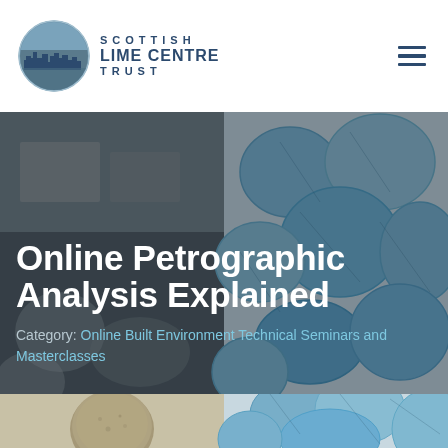Scottish Lime Centre Trust
Online Petrographic Analysis Explained
Category: Online Built Environment Technical Seminars and Masterclasses
[Figure (photo): Bottom strip showing two photos: left is a rounded mortar/lime sample disc (brown-green), right is a microscopic thin-section view with blue resin and crystalline structure.]